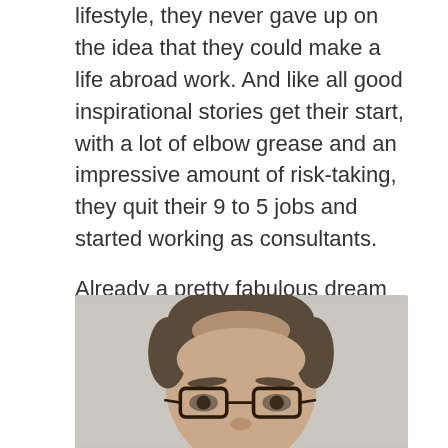lifestyle, they never gave up on the idea that they could make a life abroad work. And like all good inspirational stories get their start, with a lot of elbow grease and an impressive amount of risk-taking, they quit their 9 to 5 jobs and started working as consultants.

Already a pretty fabulous dream in the making, n'est pas?
[Figure (photo): A close-up photo of a middle-aged man with short brown/grey hair, glasses, against a light grey background. Only the top portion of his head and face are visible, cropped at the bottom of the frame.]